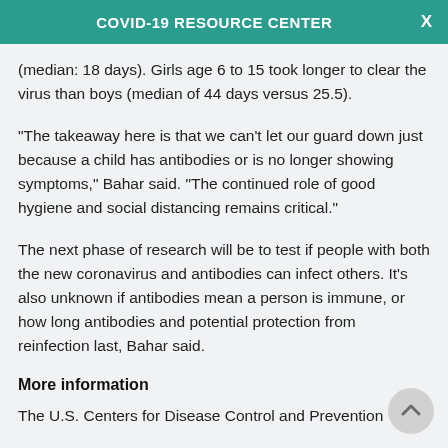COVID-19 RESOURCE CENTER
(median: 18 days). Girls age 6 to 15 took longer to clear the virus than boys (median of 44 days versus 25.5).
"The takeaway here is that we can't let our guard down just because a child has antibodies or is no longer showing symptoms," Bahar said. "The continued role of good hygiene and social distancing remains critical."
The next phase of research will be to test if people with both the new coronavirus and antibodies can infect others. It's also unknown if antibodies mean a person is immune, or how long antibodies and potential protection from reinfection last, Bahar said.
More information
The U.S. Centers for Disease Control and Prevention